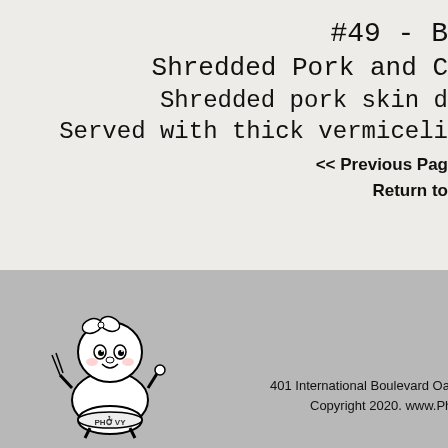#49 - B... Shredded Pork and C...
Shredded pork skin d...
Served with thick vermiceli...
<< Previous Pag...
Return to...
[Figure (illustration): Pho Vy restaurant mascot - cartoon baby girl with a bowl of pho]
Follow and Like us on: yelp
401 International Boulevard Oakland, CA 9460...
Copyright 2020. www.Pho...